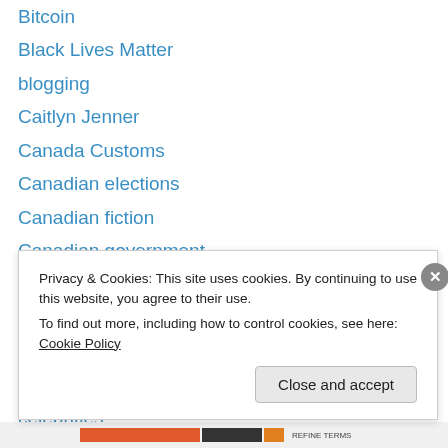Bitcoin
Black Lives Matter
blogging
Caitlyn Jenner
Canada Customs
Canadian elections
Canadian fiction
Canadian government
Canadian history
Canadian Mint
Canadian politics
Catsworld1
celebrities
cell phones
Privacy & Cookies: This site uses cookies. By continuing to use this website, you agree to their use. To find out more, including how to control cookies, see here: Cookie Policy
Close and accept